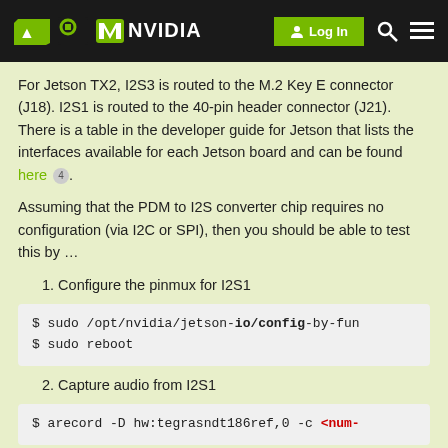NVIDIA | Log In
For Jetson TX2, I2S3 is routed to the M.2 Key E connector (J18). I2S1 is routed to the 40-pin header connector (J21). There is a table in the developer guide for Jetson that lists the interfaces available for each Jetson board and can be found here 4.
Assuming that the PDM to I2S converter chip requires no configuration (via I2C or SPI), then you should be able to test this by ...
1. Configure the pinmux for I2S1
$ sudo /opt/nvidia/jetson-io/config-by-fun
$ sudo reboot
2. Capture audio from I2S1
$ arecord -D hw:tegrasndt186ref,0 -c <num-